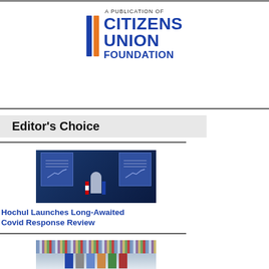[Figure (logo): Citizens Union Foundation logo with two vertical bars (blue and orange) and text 'A PUBLICATION OF CITIZENS UNION FOUNDATION' in blue]
Editor's Choice
[Figure (photo): Governor Hochul at a podium with flags and screens showing COVID data charts behind her]
Hochul Launches Long-Awaited Covid Response Review
[Figure (photo): Group of people standing in front of bookshelves in a library setting]